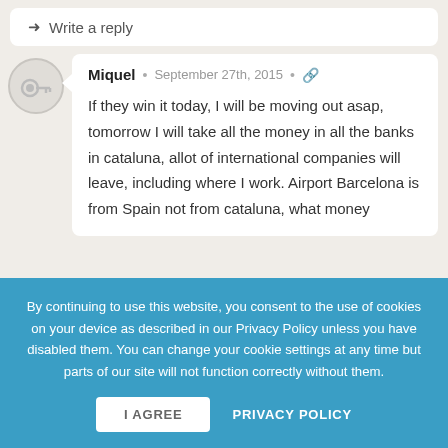→ Write a reply
Miquel · September 27th, 2015 · 🔗
If they win it today, I will be moving out asap, tomorrow I will take all the money in all the banks in cataluna, allot of international companies will leave, including where I work. Airport Barcelona is from Spain not from cataluna, what money
By continuing to use this website, you consent to the use of cookies on your device as described in our Privacy Policy unless you have disabled them. You can change your cookie settings at any time but parts of our site will not function correctly without them.
I AGREE
PRIVACY POLICY